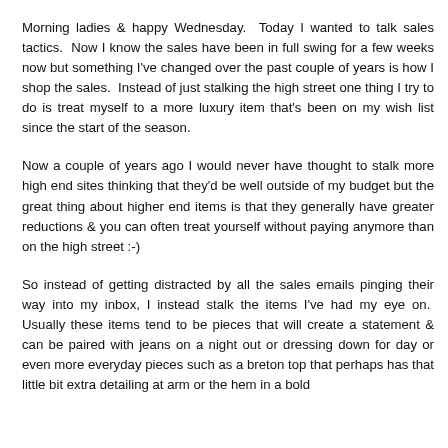Morning ladies & happy Wednesday.  Today I wanted to talk sales tactics.  Now I know the sales have been in full swing for a few weeks now but something I've changed over the past couple of years is how I shop the sales.  Instead of just stalking the high street one thing I try to do is treat myself to a more luxury item that's been on my wish list since the start of the season.
Now a couple of years ago I would never have thought to stalk more high end sites thinking that they'd be well outside of my budget but the great thing about higher end items is that they generally have greater reductions & you can often treat yourself without paying anymore than on the high street :-)
So instead of getting distracted by all the sales emails pinging their way into my inbox, I instead stalk the items I've had my eye on.  Usually these items tend to be pieces that will create a statement & can be paired with jeans on a night out or dressing down for day or even more everyday pieces such as a breton top that perhaps has that little bit extra detailing at arm or the hem in a bold